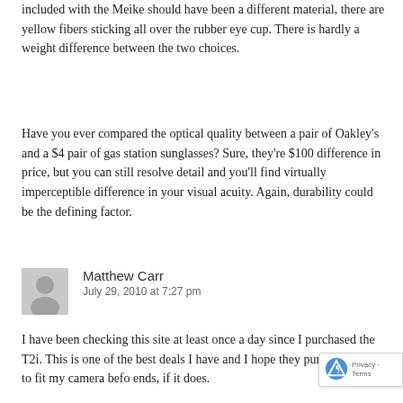included with the Meike should have been a different material, there are yellow fibers sticking all over the rubber eye cup. There is hardly a weight difference between the two choices.
Have you ever compared the optical quality between a pair of Oakley's and a $4 pair of gas station sunglasses? Sure, they're $100 difference in price, but you can still resolve detail and you'll find virtually imperceptible difference in your visual acuity. Again, durability could be the defining factor.
[Figure (illustration): Generic user avatar — grey silhouette of a person on a light grey background]
Matthew Carr
July 29, 2010 at 7:27 pm
I have been checking this site at least once a day since I purchased the T2i. This is one of the best deals I have and I hope they pump some out to fit my camera befo ends, if it does.